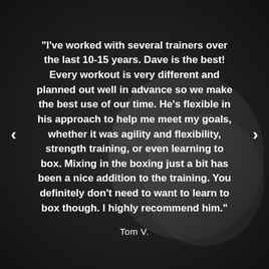[Figure (photo): Dark grayscale background photo showing boxing gloves, with dark overlay]
"I've worked with several trainers over the last 10-15 years. Dave is the best! Every workout is very different and planned out well in advance so we make the best use of our time. He's flexible in his approach to help me meet my goals, whether it was agility and flexibility, strength training, or even learning to box. Mixing in the boxing just a bit has been a nice addition to the training. You definitely don't need to want to learn to box though. I highly recommend him."
Tom V.